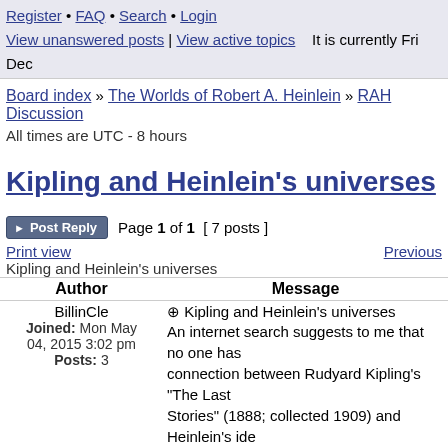Register • FAQ • Search • Login
View unanswered posts | View active topics   It is currently Fri Dec
Board index » The Worlds of Robert A. Heinlein » RAH Discussion
All times are UTC - 8 hours
Kipling and Heinlein's universes
Post Reply   Page 1 of 1  [ 7 posts ]
Print view                                                    Previous
Kipling and Heinlein's universes
| Author | Message |
| --- | --- |
| BillinCle
Joined: Mon May
04, 2015 3:02 pm
Posts: 3 | ⊕ Kipling and Heinlein's universes
An internet search suggests to me that no one has
connection between Rudyard Kipling's "The Last
Stories" (1888; collected 1909) and Heinlein's ide
making universes via their creations. |